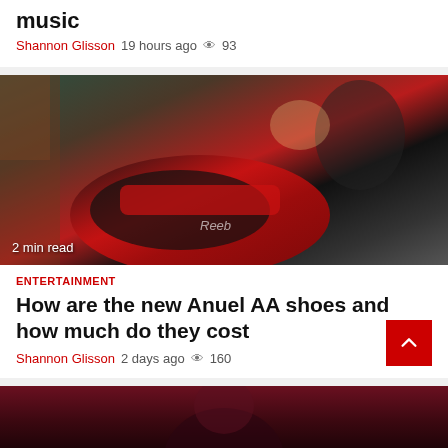music
Shannon Glisson  19 hours ago  93
[Figure (photo): Man wearing sunglasses holding a red and black Reebok sneaker, '2 min read' badge in bottom-left]
2 min read
ENTERTAINMENT
How are the new Anuel AA shoes and how much do they cost
Shannon Glisson  2 days ago  160
[Figure (photo): Partial view of person, dark blurred background]